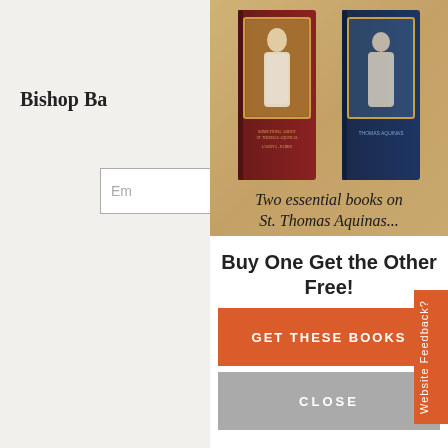Bishop Ba...
Em...
[Figure (photo): Two books about St. Thomas Aquinas displayed against a warm tan/parchment background. Left book has dark red/brown cover, right book has dark navy cover, both showing a figure of St. Thomas Aquinas.]
Two essential books on St. Thomas Aquinas...
Buy One Get the Other Free!
GET THESE BOOKS
CLOSE
Website Feedback?